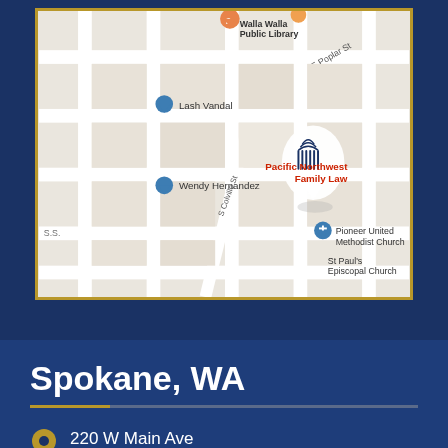[Figure (map): Google Maps view showing location of Pacific Northwest Family Law in Walla Walla area, with nearby landmarks including Lash Vandal, Wendy Hernandez, Pioneer United Methodist Church, and St Paul's Episcopal Church]
Spokane, WA
220 W Main Ave
Spokane, WA 99201